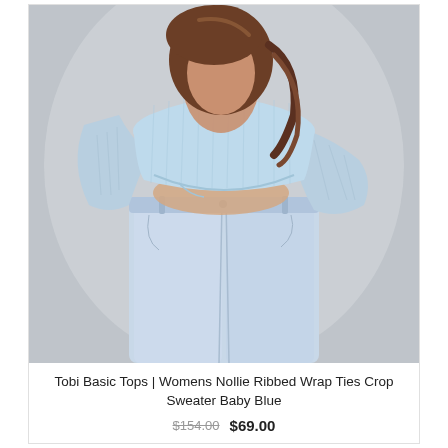[Figure (photo): A woman wearing a light baby blue ribbed long-sleeve wrap-tie crop sweater and light wash high-waist jeans, posing against a neutral gray background. The photo shows her from head to below the hips.]
Tobi Basic Tops | Womens Nollie Ribbed Wrap Ties Crop Sweater Baby Blue
$154.00  $69.00